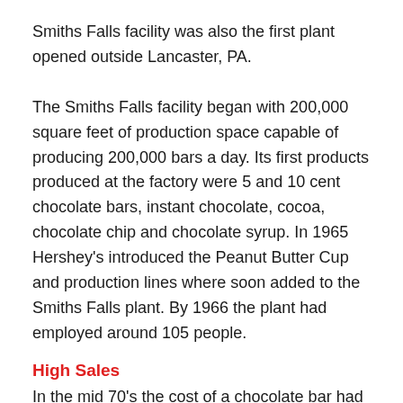Smiths Falls facility was also the first plant opened outside Lancaster, PA.
The Smiths Falls facility began with 200,000 square feet of production space capable of producing 200,000 bars a day. Its first products produced at the factory were 5 and 10 cent chocolate bars, instant chocolate, cocoa, chocolate chip and chocolate syrup. In 1965 Hershey's introduced the Peanut Butter Cup and production lines where soon added to the Smiths Falls plant. By 1966 the plant had employed around 105 people.
High Sales
In the mid 70's the cost of a chocolate bar had risen to 25 cents a bar and sales for the Smiths Falls plant had reached approximately $20,000,000 dollars per year.